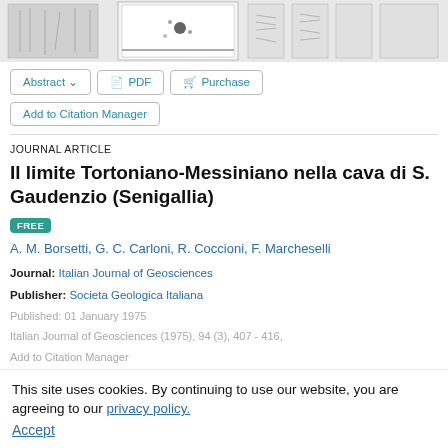[Figure (other): Strip of scientific figures/diagrams from the article, shown as grayscale thumbnail images]
Abstract ∨   PDF   Purchase
Add to Citation Manager
JOURNAL ARTICLE
Il limite Tortoniano-Messiniano nella cava di S. Gaudenzio (Senigallia)
FREE
A. M. Borsetti, G. C. Carloni, R. Coccioni, F. Marcheselli
Journal: Italian Journal of Geosciences
Publisher: Societa Geologica Italiana
Published: 01 January 1975
Italian Journal of Geosciences (1975), 94 (3), 407 - 416.
Add to Citation Manager
This site uses cookies. By continuing to use our website, you are agreeing to our privacy policy.
Accept